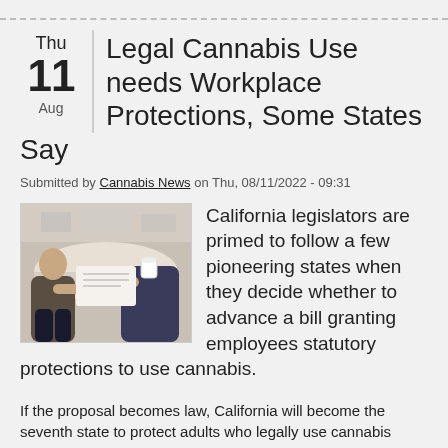Legal Cannabis Use needs Workplace Protections, Some States Say
Submitted by Cannabis News on Thu, 08/11/2022 - 09:31
[Figure (photo): Two people sitting at a table in discussion, one writing on paper, in a bright office/cafe setting]
California legislators are primed to follow a few pioneering states when they decide whether to advance a bill granting employees statutory protections to use cannabis.
If the proposal becomes law, California will become the seventh state to protect adults who legally use cannabis